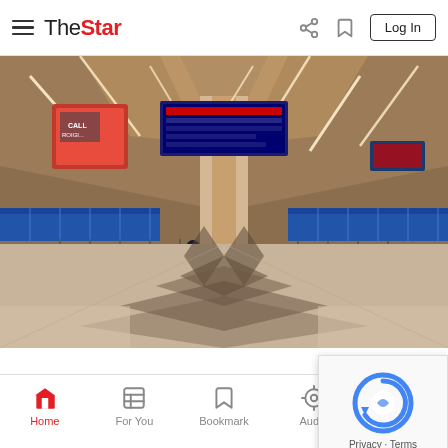The Star
[Figure (photo): Empty airport terminal interior (KLIA) with check-in counters, flight information display boards, decorative ceiling, and a lone person walking across the marble floor]
FLASHBACK #50
Home | For You | Bookmark | Audio | Search